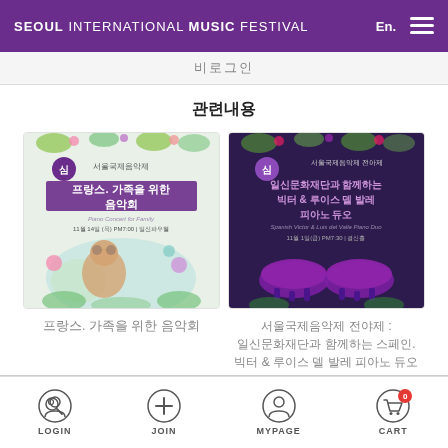SEOUL INTERNATIONAL MUSIC FESTIVAL | En.
비로그인
관련내용
[Figure (illustration): Event poster for '프랑스. 가족을 위한 음악회' (France. Concert for Family) - Seoul International Music Festival, featuring watercolor illustration with animals and floral decorations]
[Figure (illustration): Event poster for '서울국제음악제 전야제: 일신문화재단과 함께하는 스페인. 빅터 & 루이스 델 발레 피아노 듀오' featuring two purple grand pianos on a dark background with floral decorations]
프랑스. 가족을 위한 음악회
서울국제음악제 전야제 : 일신문화재단과 함께하는 스페인. 빅터 & 루이스 델 발레 피아노 듀오
LOGIN | JOIN | MYPAGE | CART 0